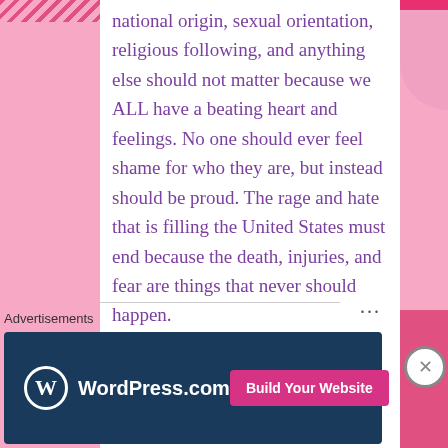national origin, sexual orientation, religious following, and anything else should not matter because we ALL have a beating heart and feelings. No one should ever feel shame for who they are, but instead should be proud. The rage and hate that is filling the United States must end because the death, injuries, and fear are things that never should happen.
Advertisements
[Figure (other): WordPress.com advertisement banner with blue background, WordPress logo, and 'Build Your Website' pink button]